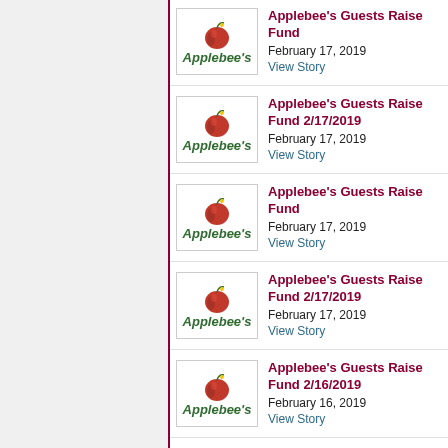Applebee's Guests Raise Fund
February 17, 2019
View Story
Applebee's Guests Raise Fund 2/17/2019
February 17, 2019
View Story
Applebee's Guests Raise Fund
February 17, 2019
View Story
Applebee's Guests Raise Fund 2/17/2019
February 17, 2019
View Story
Applebee's Guests Raise Fund 2/16/2019
February 16, 2019
View Story